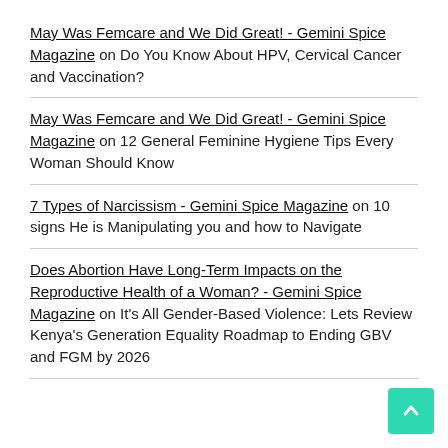May Was Femcare and We Did Great! - Gemini Spice Magazine on Do You Know About HPV, Cervical Cancer and Vaccination?
May Was Femcare and We Did Great! - Gemini Spice Magazine on 12 General Feminine Hygiene Tips Every Woman Should Know
7 Types of Narcissism - Gemini Spice Magazine on 10 signs He is Manipulating you and how to Navigate
Does Abortion Have Long-Term Impacts on the Reproductive Health of a Woman? - Gemini Spice Magazine on It's All Gender-Based Violence: Lets Review Kenya's Generation Equality Roadmap to Ending GBV and FGM by 2026